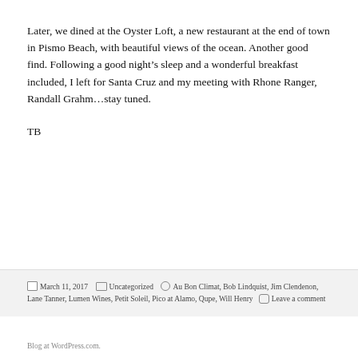Later, we dined at the Oyster Loft, a new restaurant at the end of town in Pismo Beach, with beautiful views of the ocean. Another good find. Following a good night's sleep and a wonderful breakfast included, I left for Santa Cruz and my meeting with Rhone Ranger, Randall Grahm...stay tuned.
TB
March 11, 2017   Uncategorized   Au Bon Climat, Bob Lindquist, Jim Clendenon, Lane Tanner, Lumen Wines, Petit Soleil, Pico at Alamo, Qupe, Will Henry   Leave a comment
Blog at WordPress.com.